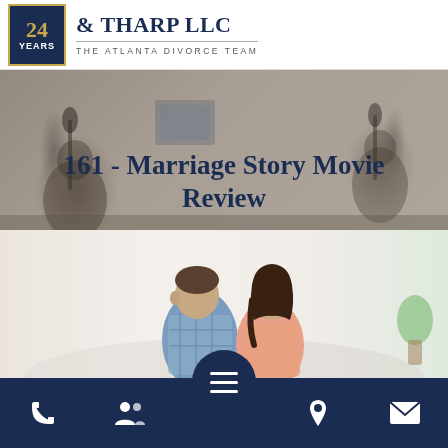[Figure (logo): Law firm logo: dark navy badge with '24 YEARS' in gold, followed by '& THARP LLC' in navy serif text, subtitle 'THE ATLANTA DIVORCE TEAM']
[Figure (photo): Hero banner image showing podcast studio with text overlay '161 - Marriage Story Movie Review' on semi-transparent background with two people at microphones]
161 - Marriage Story Movie Review
[Figure (photo): Photo of a man and woman sitting back-to-back, looking away from each other, representing a separating couple]
[Figure (infographic): Bottom navigation bar with phone, team/people, hamburger menu (circle), location pin, and envelope icons on dark navy background]